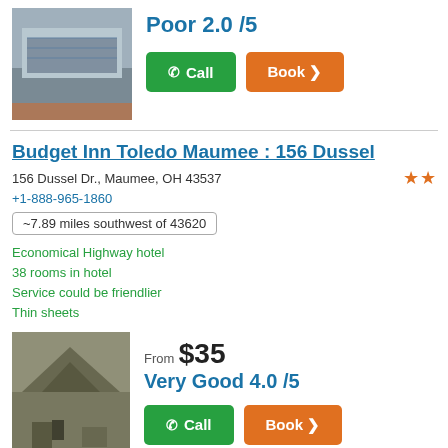Poor 2.0 /5
Call
Book >
Budget Inn Toledo Maumee : 156 Dussel
156 Dussel Dr., Maumee, OH 43537
+1-888-965-1860
~7.89 miles southwest of 43620
Economical Highway hotel
38 rooms in hotel
Service could be friendlier
Thin sheets
From $35
Very Good 4.0 /5
Call
Book >
Comfort Inn & Suites Maumee - Toledo